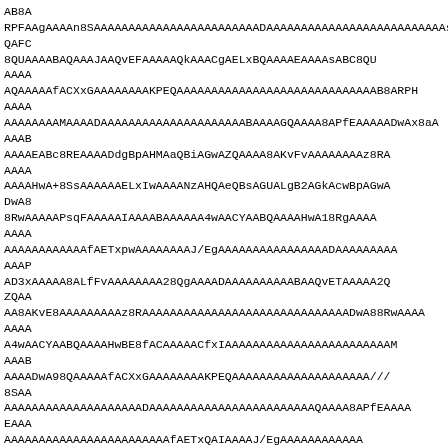AB8A
RPFAAgAAAAn8SAAAAAAAAAAAAAAAAAAAAAAAAADAAAAAAAAAAAAAAAAAAAAAAAAAAs
QAFC
8QUAAAABAQAAAJAAQvEFAAAAAQkAAACgAELxBQAAAAEAAAAsABC8QU
AAAA
AQAAAAAfACXxGAAAAAAAAKPEQAAAAAAAAAAAAAAAAAAAAAAAAAAAAAB8ARPH
AAAA
AAAAAAAAMAAAADAAAAAAAAAAAAAAAAAAAAABAAAAGQAAAA8APfEAAAAADwAx8aA
AAAAB
AAAAEABC8REAAAADdgBpAHMAaQBiAGwAZQAAAA8AKvFvAAAAAAAAz8RA
AAAA
AAAAHwA+8SsAAAAAAELxIwAAAANzAHQAeQBsAGUALgB2AGkAcwBpAGwA
DwA8
8RwAAAAAPsqFAAAAAIAAAABAAAAAA4wAACYAABQAAAAHwA1 8RgAAAA
AAAA
AAAAAAAAAAAAfAETxpwAAAAAAAAJ/EgAAAAAAAAAAAAAAAADAAAAAAAAA
AAAP
AD3xAAAAA8ALfFvAAAAAAAA28QgAAAADAAAAAAAAABAAQvETAAAAA2Q
ZQAA
AA8AKvE8AAAAAAAAAz8RAAAAAAAAAAAAAAAAAAAAAAAAAAAAAADwA88RwAAAA
AAAA
A4wAACYAABQAAAAHwBE8fACAAAAACfxIAAAAAAAAAAAAAAAAAAAAAAAAM
AAAB
AAAADwA98QAAAAAfACXxGAAAAAAAAKPEQAAAAAAAAAAAAAAAAAAAA///
8SAA
AAAAAAAAAAAAAAAAAAAADAAAAAAAAAAAAAAAAAAAAAAAAQAAAA8APfEAAAA
EAAA
AAAAAAAAAAAAAAAAAAAAAAAAfAETxQAIAAAAJ/EgAAAAAAAAAAAA
AAAA
AAAAEAAAAPAD3xQQAAAAEABQvEAAAAQEAAACQAELxBQAAAAEJAAAA